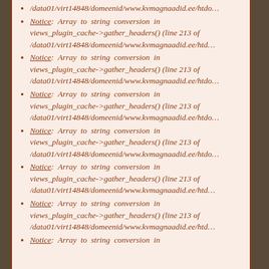/data01/virt14848/domeenid/www.kvmagnaadid.ee/htdo...
Notice: Array to string conversion in views_plugin_cache->gather_headers() (line 213 of /data01/virt14848/domeenid/www.kvmagnaadid.ee/htd...
Notice: Array to string conversion in views_plugin_cache->gather_headers() (line 213 of /data01/virt14848/domeenid/www.kvmagnaadid.ee/htdo...
Notice: Array to string conversion in views_plugin_cache->gather_headers() (line 213 of /data01/virt14848/domeenid/www.kvmagnaadid.ee/htdo...
Notice: Array to string conversion in views_plugin_cache->gather_headers() (line 213 of /data01/virt14848/domeenid/www.kvmagnaadid.ee/htdo...
Notice: Array to string conversion in views_plugin_cache->gather_headers() (line 213 of /data01/virt14848/domeenid/www.kvmagnaadid.ee/htd...
Notice: Array to string conversion in views_plugin_cache->gather_headers() (line 213 of /data01/virt14848/domeenid/www.kvmagnaadid.ee/htd...
Notice: Array to string conversion in